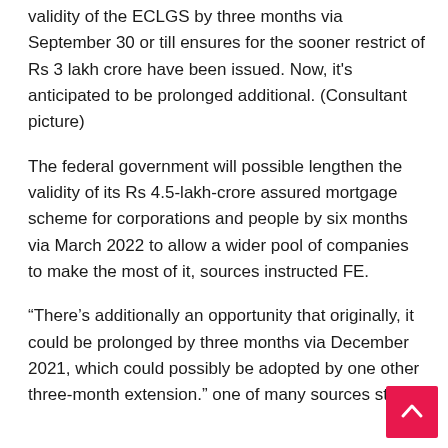validity of the ECLGS by three months via September 30 or till ensures for the sooner restrict of Rs 3 lakh crore have been issued. Now, it's anticipated to be prolonged additional. (Consultant picture)
The federal government will possible lengthen the validity of its Rs 4.5-lakh-crore assured mortgage scheme for corporations and people by six months via March 2022 to allow a wider pool of companies to make the most of it, sources instructed FE.
“There’s additionally an opportunity that originally, it could be prolonged by three months via December 2021, which could possibly be adopted by one other three-month extension.” one of many sources stated.